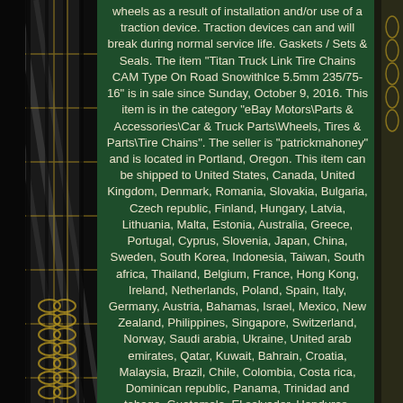[Figure (photo): Close-up photo of tire chains / tire tread on the left side of the page]
wheels as a result of installation and/or use of a traction device. Traction devices can and will break during normal service life. Gaskets / Sets & Seals. The item "Titan Truck Link Tire Chains CAM Type On Road SnowithIce 5.5mm 235/75-16" is in sale since Sunday, October 9, 2016. This item is in the category "eBay Motors\Parts & Accessories\Car & Truck Parts\Wheels, Tires & Parts\Tire Chains". The seller is "patrickmahoney" and is located in Portland, Oregon. This item can be shipped to United States, Canada, United Kingdom, Denmark, Romania, Slovakia, Bulgaria, Czech republic, Finland, Hungary, Latvia, Lithuania, Malta, Estonia, Australia, Greece, Portugal, Cyprus, Slovenia, Japan, China, Sweden, South Korea, Indonesia, Taiwan, South africa, Thailand, Belgium, France, Hong Kong, Ireland, Netherlands, Poland, Spain, Italy, Germany, Austria, Bahamas, Israel, Mexico, New Zealand, Philippines, Singapore, Switzerland, Norway, Saudi arabia, Ukraine, United arab emirates, Qatar, Kuwait, Bahrain, Croatia, Malaysia, Brazil, Chile, Colombia, Costa rica, Dominican republic, Panama, Trinidad and tobago, Guatemala, El salvador, Honduras, Jamaica, Antigua and barbuda, Aruba, Belize, Dominica, Grenada, Saint kitts and nevis, Saint lucia, Montserrat, Turks and